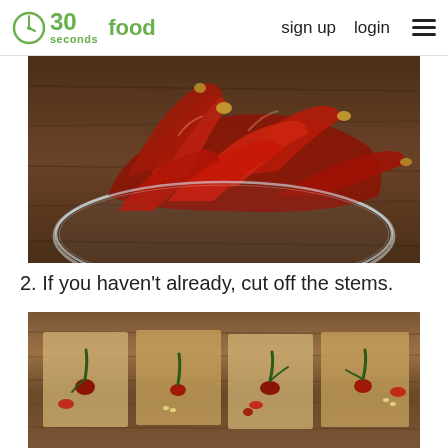30 seconds food  sign up  login
[Figure (photo): Overhead photo of dried red chili peppers piled in a glass bowl on a wooden surface]
2. If you haven't already, cut off the stems.
[Figure (photo): Photo showing dried chili pepper stems cut off, displayed on a wooden cutting board]